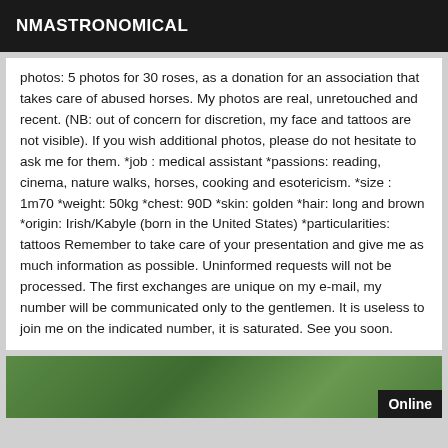NMASTRONOMICAL
photos: 5 photos for 30 roses, as a donation for an association that takes care of abused horses. My photos are real, unretouched and recent. (NB: out of concern for discretion, my face and tattoos are not visible). If you wish additional photos, please do not hesitate to ask me for them. *job : medical assistant *passions: reading, cinema, nature walks, horses, cooking and esotericism. *size : 1m70 *weight: 50kg *chest: 90D *skin: golden *hair: long and brown *origin: Irish/Kabyle (born in the United States) *particularities: tattoos Remember to take care of your presentation and give me as much information as possible. Uninformed requests will not be processed. The first exchanges are unique on my e-mail, my number will be communicated only to the gentlemen. It is useless to join me on the indicated number, it is saturated. See you soon.
[Figure (photo): Partial view of a person outdoors in greenery with an Online badge overlay in bottom right corner]